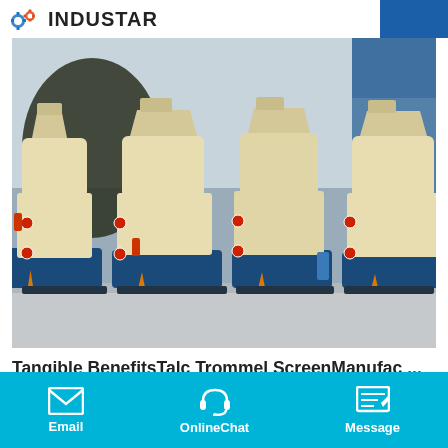INDUSTAR
[Figure (photo): Several large cream/yellow industrial grinding mill machines lined up in a factory yard, with blue bases and red/orange safety indicators, buildings visible in background.]
Tangible BenefitsTalc Trommel ScreenManufac ...
Tangible BenefitsTalc Trommel ScreenManufacturerIn Jakarta. Mobile machine station tangible benefits talc mobile machi...
Email   OnlineChat   Message